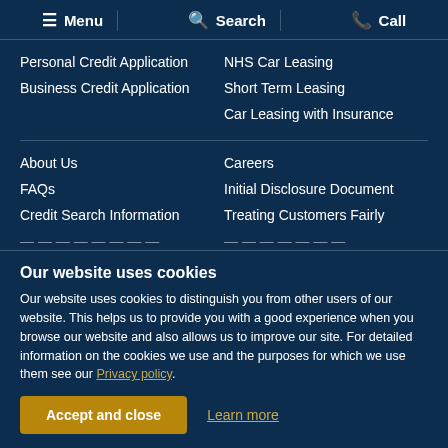Menu | Search | Call
Personal Credit Application
Business Credit Application
NHS Car Leasing
Short Term Leasing
Car Leasing with Insurance
About Us
FAQs
Credit Search Information
Careers
Initial Disclosure Document
Treating Customers Fairly
Our website uses cookies
Our website uses cookies to distinguish you from other users of our website. This helps us to provide you with a good experience when you browse our website and also allows us to improve our site. For detailed information on the cookies we use and the purposes for which we use them see our Privacy policy.